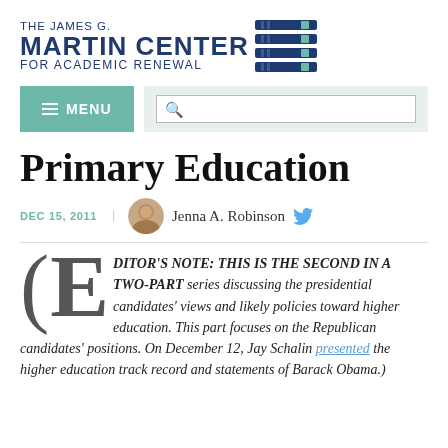[Figure (logo): The James G. Martin Center for Academic Renewal logo with book stack icon]
[Figure (other): Navigation bar with MENU button and search box]
Primary Education
DEC 15, 2011  Jenna A. Robinson
EDITOR'S NOTE: THIS IS THE SECOND IN A TWO-PART series discussing the presidential candidates' views and likely policies toward higher education. This part focuses on the Republican candidates' positions. On December 12, Jay Schalin presented the higher education track record and statements of Barack Obama.)